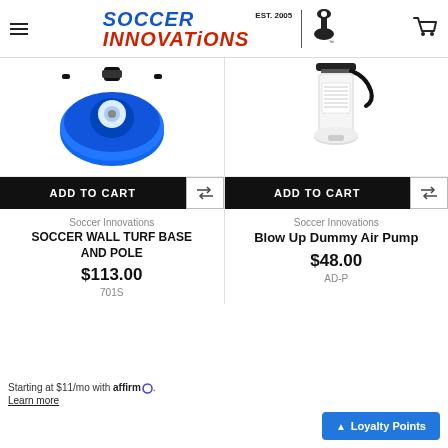Soccer Innovations EST. 2005
[Figure (photo): Blue soccer wall turf base and pole product image, top-down view showing blue circular base with central mechanism]
[Figure (photo): Blow Up Dummy Air Pump product image, white cylindrical hand pump with label and base]
ADD TO CART
ADD TO CART
Soccer Innovations
SOCCER WALL TURF BASE AND POLE
$113.00
701S
Soccer Innovations
Blow Up Dummy Air Pump
$48.00
AD-P
Starting at $11/mo with affirm. Learn more